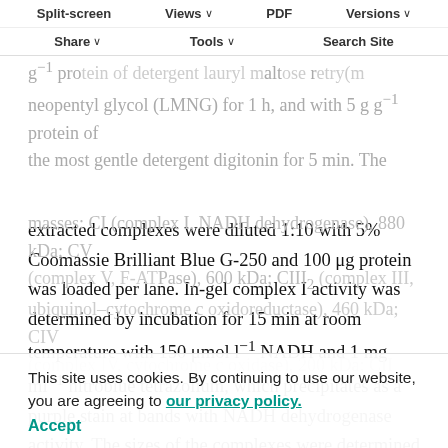detergent dodecylmaltoside (DDM) for 15 min, with 2.5 g g⁻¹ protein of detergent lauryl maltose neopentyl glycol (LMNG) for 1 h, and with 5 g g⁻¹ protein of the most gentle detergent digitonin for 5 min. The
Split-screen | Views | PDF | Versions | Share | Tools | Search Site
extracted complexes were diluted 1:10 with 5% Coomassie Brilliant Blue G-250 and 100 μg protein was loaded per lane. In-gel complex I activity was determined by incubation for 15 min at room temperature with 150 μmol l⁻¹ NADH and 1 mg ml⁻¹ nitroblue tetrazolium, which precipitates as a purple stain at bands with NADH dehydrogenase activity. The sizes of the complexes were determined from an exponential fit (r ²=0.99) of the migration distance of the mouse complexes extracted with DDM using the molecular
masses: CI (complex I, NADH dehydrogenase), 880 kDa; CV (complex V, F-ATPase), 600 kDa; CIII₂ (complex III, ubiquinol–cytochrome c oxidoreductase), 460 kDa; CIV (complex IV, cytochrome c oxidase), 200 kDa; CII
This site uses cookies. By continuing to use our website, you are agreeing to our privacy policy.
Accept